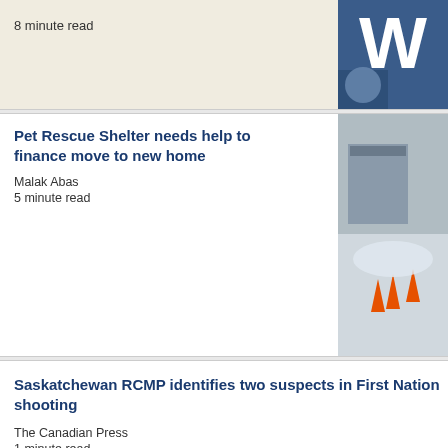8 minute read
[Figure (photo): Sports photo with large W letter and athlete]
Pet Rescue Shelter needs help to finance move to new home
Malak Abas
5 minute read
[Figure (photo): Construction site with orange traffic cones and snow]
Saskatchewan RCMP identifies two suspects in First Nation shooting
The Canadian Press
1 minute read
Timeline of the police response to stabbings in Saskatchewan that killed at least 10
The Canadian Press
3 minute read
[Figure (photo): Two suspect mugshot photos displayed on a board with police officers in background]
The best 4-4 tie in hockey history
Geoff Kirbyson